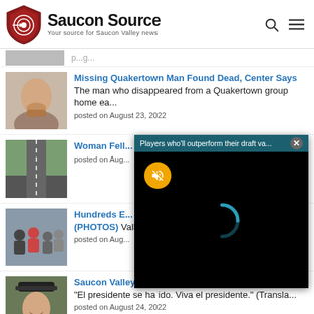Saucon Source — Your source for Saucon Valley news
[Figure (screenshot): Partial news item thumbnail and text, cut off at top]
[Figure (photo): Photo of a man with beard]
Missing Quakertown Man Found Dead, Center Says The man who disappeared from a Quakertown group home ea...
posted on August 23, 2022
[Figure (photo): Photo of a road with trees]
Woman Fell... Rolled Car: Montgomery... posted on Aug...
[Figure (screenshot): Video popup overlay: Players who'll outperform their draft va... with loading spinner and mute button]
[Figure (photo): Photo of people walking in a group]
Hundreds E... (PHOTOS) Valley resid... posted on Aug...
[Figure (photo): Photo of a smiling man in a cap]
Saucon Valley Bikes' New Owner is a Familiar Face "El presidente se ha ido. Viva el presidente." (Transla...
posted on August 24, 2022